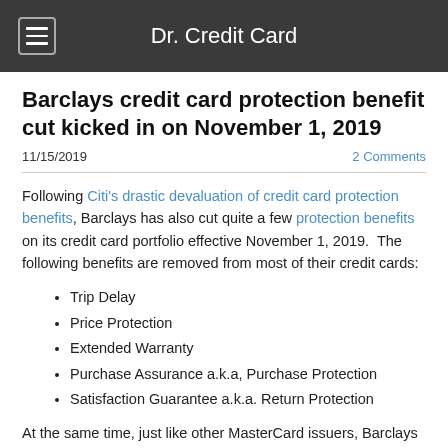Dr. Credit Card
Barclays credit card protection benefit cut kicked in on November 1, 2019
11/15/2019   2 Comments
Following Citi's drastic devaluation of credit card protection benefits, Barclays has also cut quite a few protection benefits on its credit card portfolio effective November 1, 2019.  The following benefits are removed from most of their credit cards:
Trip Delay
Price Protection
Extended Warranty
Purchase Assurance a.k.a, Purchase Protection
Satisfaction Guarantee a.k.a. Return Protection
At the same time, just like other MasterCard issuers, Barclays has added Cellphone Protection to its World MasterCard and World Elite